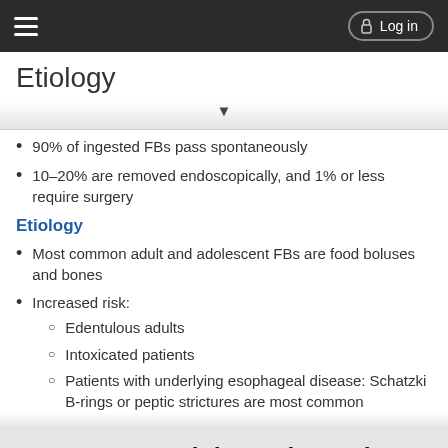Etiology — Log in
Etiology
90% of ingested FBs pass spontaneously
10–20% are removed endoscopically, and 1% or less require surgery
Etiology
Most common adult and adolescent FBs are food boluses and bones
Increased risk:
Edentulous adults
Intoxicated patients
Patients with underlying esophageal disease: Schatzki B-rings or peptic strictures are most common
Want to read the entire topic?
Purchase a subscription
I'm already a subscriber
Browse sample topics